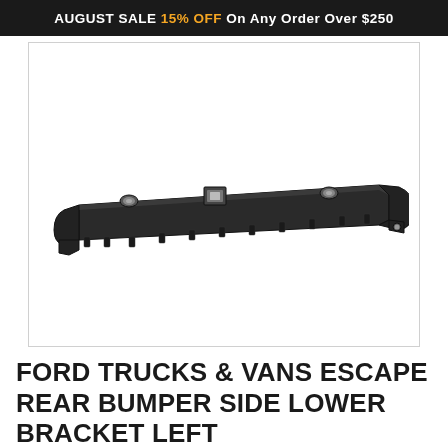AUGUST SALE 15% OFF On Any Order Over $250
[Figure (photo): Photograph of a Ford Trucks & Vans Escape rear bumper side lower bracket left — a long black plastic/metal bracket with mounting holes and clips, shown on white background.]
FORD TRUCKS & VANS ESCAPE REAR BUMPER SIDE LOWER BRACKET LEFT